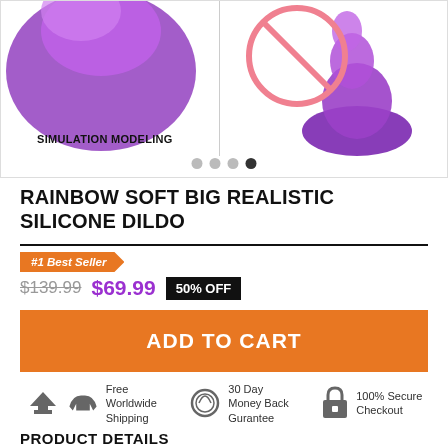[Figure (photo): Product image showing a purple silicone toy with 'SIMULATION MODELING' label. Carousel dots at bottom. Right panel shows product with a no-symbol overlay icon. Vertical divider between panels.]
RAINBOW SOFT BIG REALISTIC SILICONE DILDO
#1 Best Seller
$139.99  $69.99  50% OFF
ADD TO CART
Free Worldwide Shipping   30 Day Money Back Gurantee   100% Secure Checkout
PRODUCT DETAILS